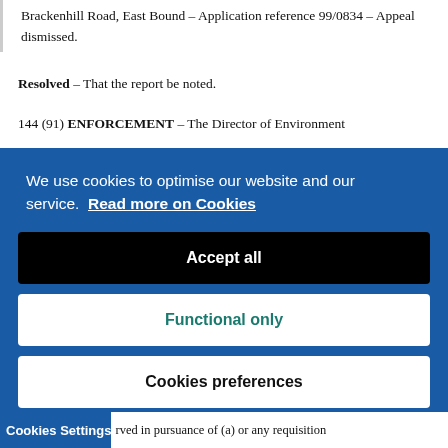Brackenhill Road, East Bound – Application reference 99/0834 – Appeal dismissed.
Resolved – That the report be noted.
144 (91) ENFORCEMENT – The Director of Environment
[Figure (screenshot): Cookie consent banner overlay with blue background. Contains text 'We use cookies to optimise our website and our service. Read more on Cookies', with three buttons: 'Accept all' (black), 'Functional only' (white with teal text), and 'Cookies preferences' (white with black text).]
Cookies Settings ...rved in pursuance of (a) or any requisition